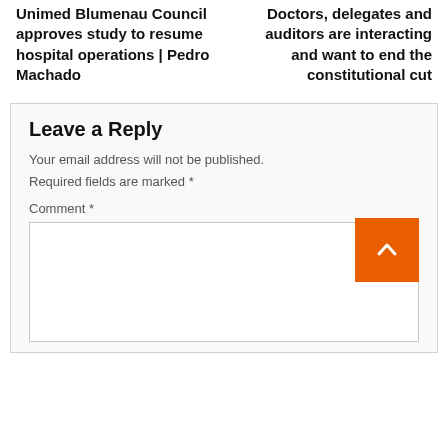Unimed Blumenau Council approves study to resume hospital operations | Pedro Machado
Doctors, delegates and auditors are interacting and want to end the constitutional cut
Leave a Reply
Your email address will not be published.
Required fields are marked *
Comment *